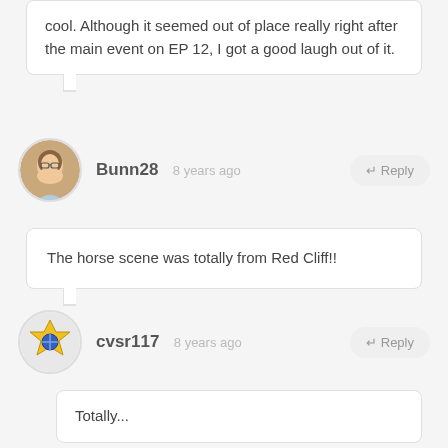cool. Although it seemed out of place really right after the main event on EP 12, I got a good laugh out of it.
Bunn28  8 years ago  ↵Reply
The horse scene was totally from Red Cliff!!
cvsr117  8 years ago  ↵Reply
Totally...
Bunn28  8 years ago  ↵Reply